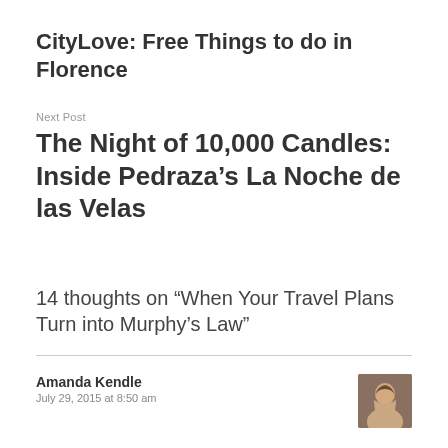CityLove: Free Things to do in Florence
Next Post
The Night of 10,000 Candles: Inside Pedraza’s La Noche de las Velas
14 thoughts on “When Your Travel Plans Turn into Murphy’s Law”
Amanda Kendle
July 29, 2015 at 8:50 am